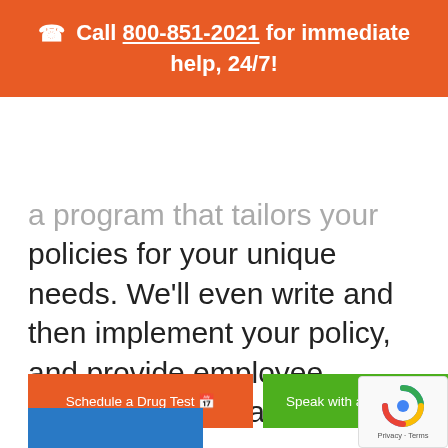📞 Call 800-851-2021 for immediate help, 24/7!
a program that tailors your drug testing policies for your unique needs. We'll even write and then implement your policy, and provide employee education and staff training at your request.
Schedule a Drug Test 📅
Speak with a Specialist